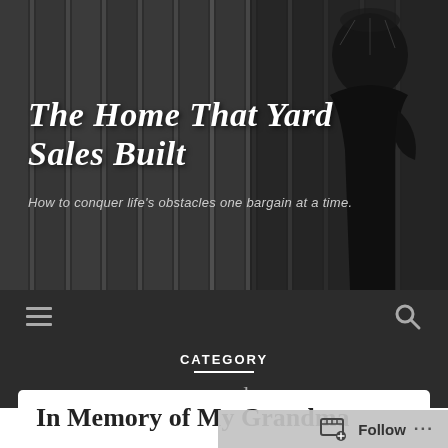[Figure (photo): Black and white photo of a woman in vintage 1920s style clothing and head accessory, standing in front of vertical striped background (blinds/doors). Blog header image.]
The Home That Yard Sales Built
How to conquer life's obstacles one bargain at a time.
Navigation bar with hamburger menu icon and search icon
CATEGORY
comedy
In Memory of My Grandma